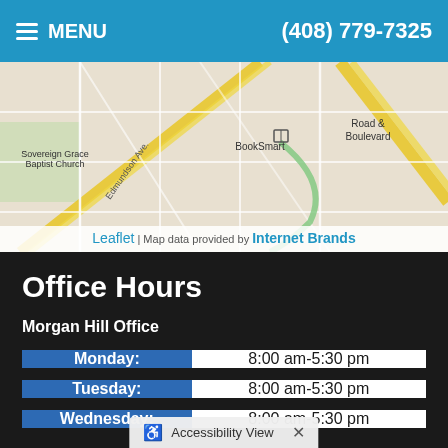MENU   (408) 779-7325
[Figure (map): Street map showing area near BookSmart, Sovereign Grace Baptist Church, Road & Boulevard labels, with Edmundson Ave diagonal road and yellow highway]
Leaflet | Map data provided by Internet Brands
Office Hours
Morgan Hill Office
| Day | Hours |
| --- | --- |
| Monday: | 8:00 am-5:30 pm |
| Tuesday: | 8:00 am-5:30 pm |
| Wednesday: | 8:00 am-5:30 pm |
Accessibility View ×